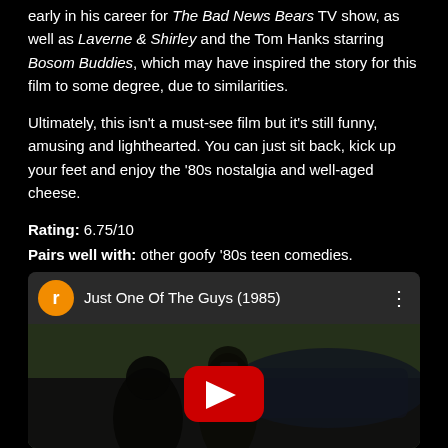early in his career for The Bad News Bears TV show, as well as Laverne & Shirley and the Tom Hanks starring Bosom Buddies, which may have inspired the story for this film to some degree, due to similarities.
Ultimately, this isn't a must-see film but it's still funny, amusing and lighthearted. You can just sit back, kick up your feet and enjoy the '80s nostalgia and well-aged cheese.
Rating: 6.75/10
Pairs well with: other goofy '80s teen comedies.
[Figure (screenshot): YouTube video embed thumbnail showing 'Just One Of The Guys (1985)' with an orange avatar icon labeled 'r', video title text, three-dot menu icon, and a dark thumbnail image of people near a car with a red YouTube play button overlay.]